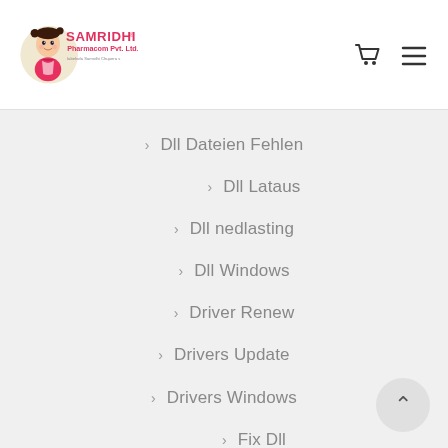[Figure (logo): Samridhi Pharmacom Pvt. Ltd. logo with cartoon girl character]
Dll Dateien Fehlen
Dll Lataus
Dll nedlasting
Dll Windows
Driver Renew
Drivers Update
Drivers Windows
Fix Dll
Fix Dll Files